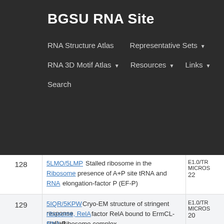BGSU RNA Site
RNA Structure Atlas   Representative Sets ▼   RNA 3D Motif Atlas ▼   Resources ▼   Links ▼   Search
| # | Description | Meta |
| --- | --- | --- |
| 128 | 5LMO/5LMP Stalled ribosome in the presence of A+P site tRNA and elongation-factor P (EF-P)
Ribosome, tRNA, RNA | E1.0/TR
MICROS
22 |
| 129 | 5IQR/5KPW Cryo-EM structure of stringent response factor RelA bound to ErmCL-stalled Ribosome complex
Ribosome, RelA bound, RNA | E1.0/TR
MICROS
20 |
| 130 | 5LZS/5NGO SR complex early state
rRNA, tRNA, CCAend | E1.0/TR
MICROS
27 |
| 131 | 6YSS/5LJ3 Ribosomal subunit assembly intermediate - 50S rec*
ribosome intermediate, RNA | E1.0/TR
MICROS
20 |